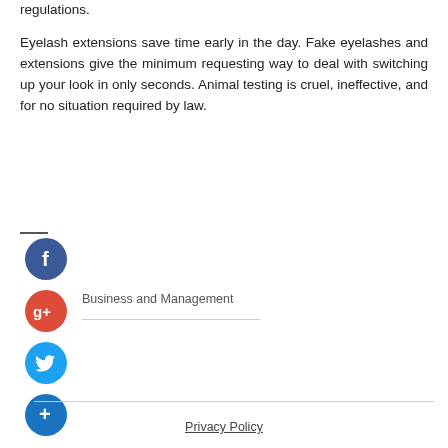regulations.
Eyelash extensions save time early in the day. Fake eyelashes and extensions give the minimum requesting way to deal with switching up your look in only seconds. Animal testing is cruel, ineffective, and for no situation required by law.
[Figure (illustration): Social media share buttons: Facebook (blue circle with f), Google+ (red circle with g+), Twitter (light blue circle with bird icon), and a blue plus button. A 'Business and Management' category label with horizontal rule below it appears beside the Google+ icon.]
Business and Management
Privacy Policy